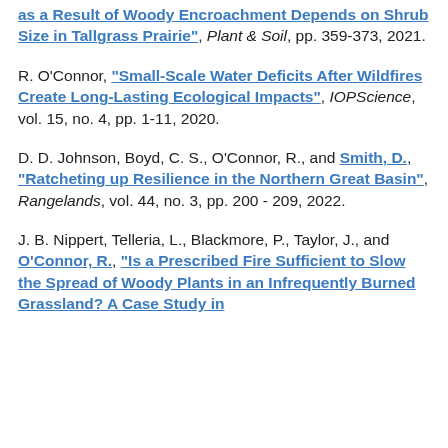as a Result of Woody Encroachment Depends on Shrub Size in Tallgrass Prairie", Plant & Soil, pp. 359-373, 2021.
R. O'Connor, "Small-Scale Water Deficits After Wildfires Create Long-Lasting Ecological Impacts", IOPScience, vol. 15, no. 4, pp. 1-11, 2020.
D. D. Johnson, Boyd, C. S., O'Connor, R., and Smith, D., "Ratcheting up Resilience in the Northern Great Basin", Rangelands, vol. 44, no. 3, pp. 200 - 209, 2022.
J. B. Nippert, Telleria, L., Blackmore, P., Taylor, J., and O'Connor, R., "Is a Prescribed Fire Sufficient to Slow the Spread of Woody Plants in an Infrequently Burned Grassland? A Case Study in